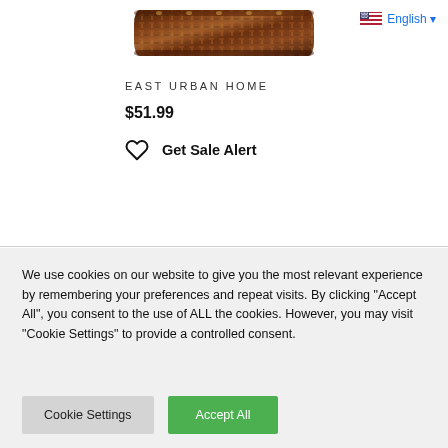[Figure (photo): Decorative pillow with ornate woven pattern in dark red/brown tones, shown against white background]
English ▼
EAST URBAN HOME
$51.99
♡  Get Sale Alert
We use cookies on our website to give you the most relevant experience by remembering your preferences and repeat visits. By clicking "Accept All", you consent to the use of ALL the cookies. However, you may visit "Cookie Settings" to provide a controlled consent.
Cookie Settings
Accept All